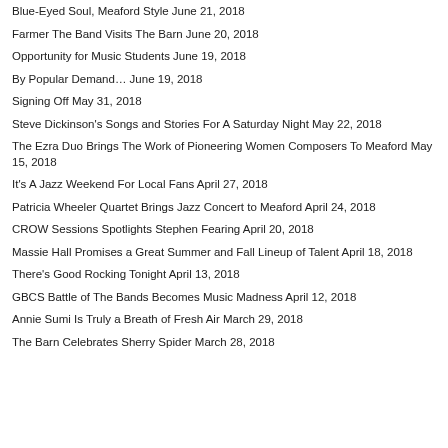Blue-Eyed Soul, Meaford Style June 21, 2018
Farmer The Band Visits The Barn June 20, 2018
Opportunity for Music Students June 19, 2018
By Popular Demand… June 19, 2018
Signing Off May 31, 2018
Steve Dickinson's Songs and Stories For A Saturday Night May 22, 2018
The Ezra Duo Brings The Work of Pioneering Women Composers To Meaford May 15, 2018
It's A Jazz Weekend For Local Fans April 27, 2018
Patricia Wheeler Quartet Brings Jazz Concert to Meaford April 24, 2018
CROW Sessions Spotlights Stephen Fearing April 20, 2018
Massie Hall Promises a Great Summer and Fall Lineup of Talent April 18, 2018
There's Good Rocking Tonight April 13, 2018
GBCS Battle of The Bands Becomes Music Madness April 12, 2018
Annie Sumi Is Truly a Breath of Fresh Air March 29, 2018
The Barn Celebrates Sherry Spider March 28, 2018